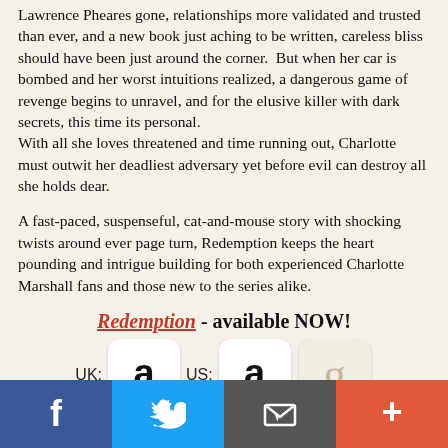uncovered a serial killer, and narrowly escaped alive. With Lawrence Pheares gone, relationships more validated and trusted than ever, and a new book just aching to be written, careless bliss should have been just around the corner. But when her car is bombed and her worst intuitions realized, a dangerous game of revenge begins to unravel, and for the elusive killer with dark secrets, this time its personal.
With all she loves threatened and time running out, Charlotte must outwit her deadliest adversary yet before evil can destroy all she holds dear.

A fast-paced, suspenseful, cat-and-mouse story with shocking twists around ever page turn, Redemption keeps the heart pounding and intrigue building for both experienced Charlotte Marshall fans and those new to the series alike.
Redemption - available NOW!
[Figure (other): Amazon UK button, Amazon US button, and Goodreads button with UK: and US: labels]
[Figure (other): Social media sharing bar with Facebook, Twitter, email/share, and plus buttons]